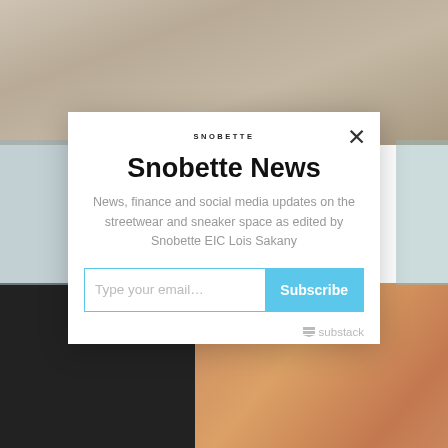[Figure (screenshot): Background photo collage: wooden surface top, dark clothing bottom left, colorful items bottom right]
SNOBETTE
Snobette News
News, finance and social media updates on the streetwear and sneaker space as edited by Snobette EIC Lois Sakany
Type your email…
Subscribe
substack